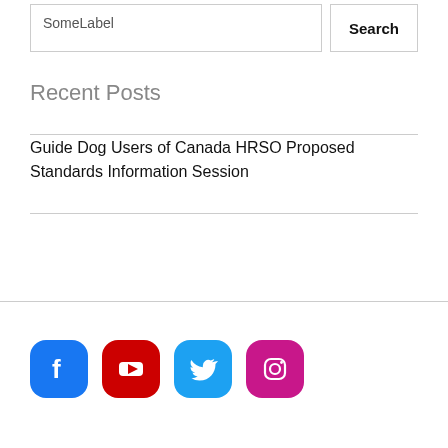SomeLabel
Recent Posts
Guide Dog Users of Canada HRSO Proposed Standards Information Session
[Figure (infographic): Social media icons: Facebook (blue), YouTube (red), Twitter (light blue), Instagram (magenta/pink), displayed as rounded rectangle icon buttons]